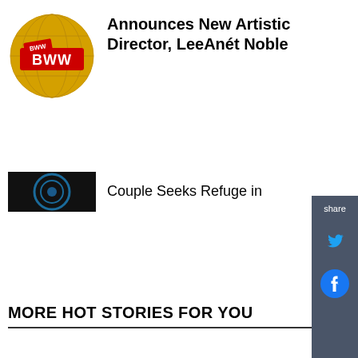[Figure (logo): BWW (Broadway World) logo — red and yellow globe with BWW text on a red banner]
Announces New Artistic Director, LeeAnét Noble
[Figure (photo): Dark thumbnail image showing a circular graphic with blue tones]
Couple Seeks Refuge in
MORE HOT STORIES FOR YOU
[Figure (other): Social share sidebar with Twitter and Facebook icons on dark gray background]